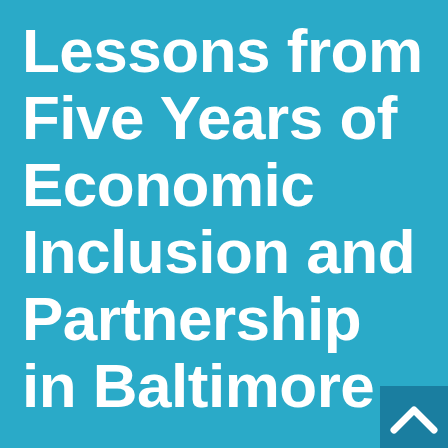Lessons from Five Years of Economic Inclusion and Partnership in Baltimore
[Figure (logo): Small darker teal square in bottom-right corner containing a white upward-pointing chevron/arrow logo mark]